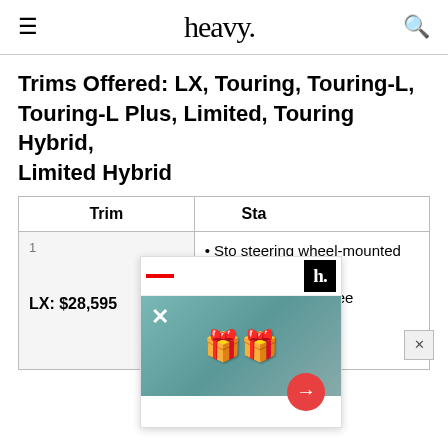heavy.
Trims Offered: LX, Touring, Touring-L, Touring-L Plus, Limited, Touring Hybrid, Limited Hybrid
| Trim | Standard Features |
| --- | --- |
| LX: $28,595 | • Standard steering wheel-mounted audio controls
• Bluetooth hands-free connectivity
• Rear view camera |